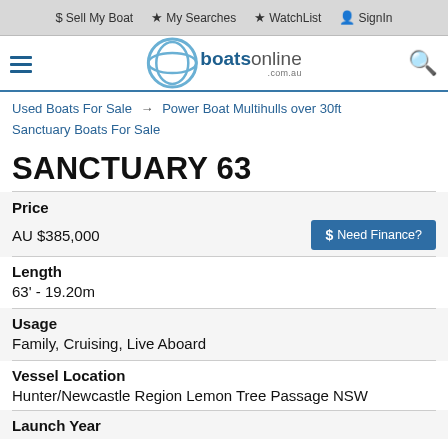$ Sell My Boat  ★ My Searches  ★ WatchList  👤 SignIn
[Figure (logo): Boats Online logo with circular wave icon and text 'boats online .com.au']
Used Boats For Sale → Power Boat Multihulls over 30ft
Sanctuary Boats For Sale
SANCTUARY 63
| Price |  |
| AU $385,000 | $ Need Finance? |
| Length |  |
| 63' - 19.20m |  |
| Usage |  |
| Family, Cruising, Live Aboard |  |
| Vessel Location |  |
| Hunter/Newcastle Region Lemon Tree Passage NSW |  |
| Launch Year |  |